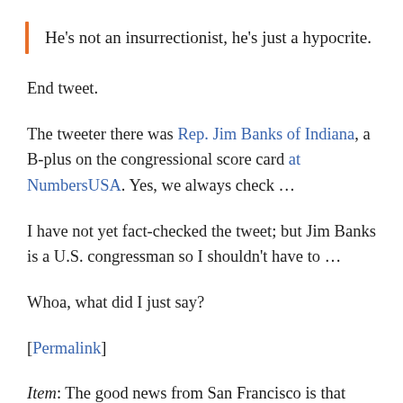He's not an insurrectionist, he's just a hypocrite.
End tweet.
The tweeter there was Rep. Jim Banks of Indiana, a B-plus on the congressional score card at NumbersUSA. Yes, we always check …
I have not yet fact-checked the tweet; but Jim Banks is a U.S. congressman so I shouldn't have to …
Whoa, what did I just say?
[Permalink]
Item: The good news from San Francisco is that crazy-progressive D.A. Chesa Boudin lost his recall election.
The bad news is that he lost by sixty percent to forty. Put it another way, forty percent of San Franciscans